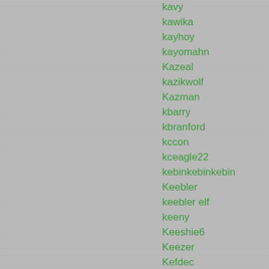kavy
kawika
kayhoy
kayomahn
Kazeal
kazikwolf
Kazman
kbarry
kbranford
kccon
kceagle22
kebinkebinkebin
Keebler
keebler elf
keeny
Keeshie6
Keezer
Kefdec
Keith Oh
keith6660
keithwesley
keivan
Keldore
kelinho